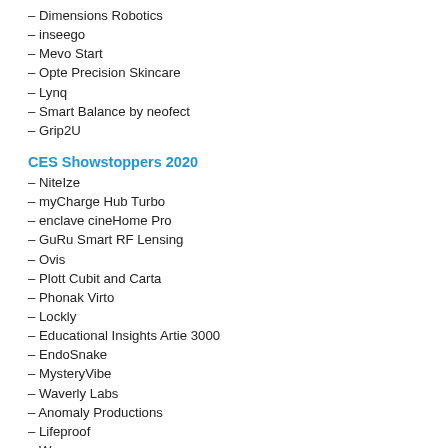– Dimensions Robotics
– inseego
– Mevo Start
– Opte Precision Skincare
– Lynq
– Smart Balance by neofect
– Grip2U
CES Showstoppers 2020
– NiteIze
– myCharge Hub Turbo
– enclave cineHome Pro
– GuRu Smart RF Lensing
– Ovis
– Plott Cubit and Carta
– Phonak Virto
– Lockly
– Educational Insights Artie 3000
– EndoSnake
– MysteryVibe
– Waverly Labs
– Anomaly Productions
– Lifeproof
– Wacom
– Avast
– Roxie Mobile Karaoke
– Learning Resources Coding Critters
CES 2020 Venetian – Day 1